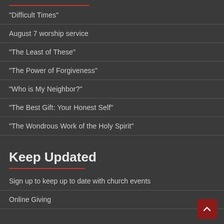“Difficult Times”
August 7 worship service
“The Least of These”
“The Power of Forgiveness”
“Who is My Neighbor?”
“The Best Gift: Your Honest Self”
“The Wondrous Work of the Holy Spirit”
Keep Updated
Sign up to keep up to date with church events
Online Giving